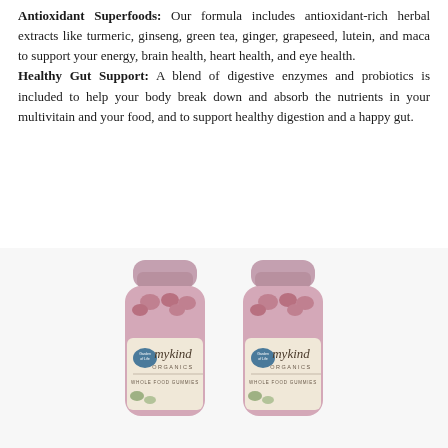Antioxidant Superfoods: Our formula includes antioxidant-rich herbal extracts like turmeric, ginseng, green tea, ginger, grapeseed, lutein, and maca to support your energy, brain health, heart health, and eye health.
Healthy Gut Support: A blend of digestive enzymes and probiotics is included to help your body break down and absorb the nutrients in your multivitain and your food, and to support healthy digestion and a happy gut.
[Figure (photo): Two Garden of Life mykind Organics Whole Food Gummies supplement bottles with pink/mauve lids and kraft-paper labels, side by side.]